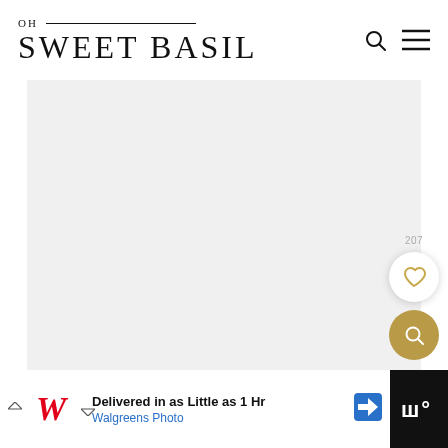OH SWEET BASIL
[Figure (photo): Large light gray placeholder image area for a food blog post on Oh Sweet Basil website]
[Figure (other): Like/favorite button (heart icon) with count 207, and a gold search button below it on the right side]
[Figure (other): Advertisement banner at bottom: Walgreens Photo - Delivered in as Little as 1 Hr]